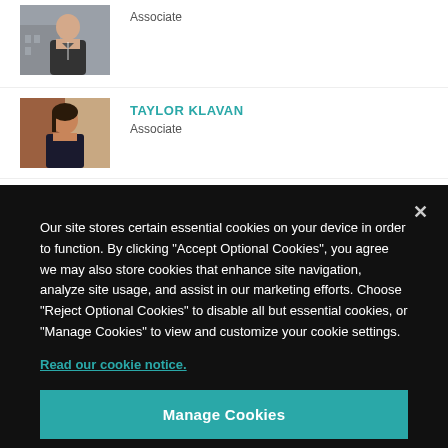[Figure (photo): Professional headshot of a woman in dark blazer against building background]
Associate
[Figure (photo): Professional headshot of a woman with dark hair against reddish background]
TAYLOR KLAVAN
Associate
Our site stores certain essential cookies on your device in order to function. By clicking “Accept Optional Cookies”, you agree we may also store cookies that enhance site navigation, analyze site usage, and assist in our marketing efforts. Choose “Reject Optional Cookies” to disable all but essential cookies, or “Manage Cookies” to view and customize your cookie settings.
Read our cookie notice.
Manage Cookies
Reject Optional Cookies
Accept Optional Cookies